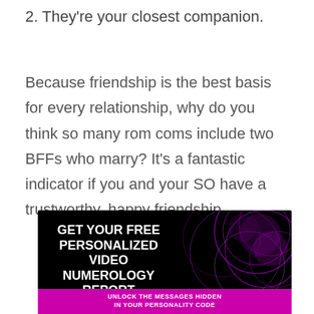2. They're your closest companion.
Because friendship is the best basis for every relationship, why do you think so many rom coms include two BFFs who marry? It's a fantastic indicator if you and your SO have a trustworthy, happy friendship.
[Figure (infographic): Advertisement banner with black background and purple decorative circles. Large white bold text reads 'GET YOUR FREE PERSONALIZED VIDEO NUMEROLOGY REPORT'. A magenta/pink band at the bottom reads 'UNLOCK THE MESSAGES HIDDEN IN YOUR PERSONALITY CODE'.]